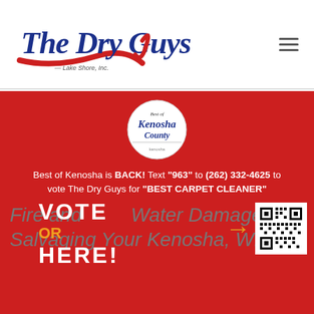[Figure (logo): The Dry Guys logo — italic blue cursive text 'The Dry Guys' with red swoosh underline, and small text 'Lake Shore, Inc.' below]
[Figure (logo): Best of Kenosha County circular badge/seal logo on white circle background]
Best of Kenosha is BACK! Text "963" to (262) 332-4625 to vote The Dry Guys for "BEST CARPET CLEANER"
Fire and Water Damage — Salvaging Your Kenosha, WI,
[Figure (other): VOTE OR HERE! text overlay with orange arrow pointing to QR code]
[Figure (other): QR code for voting]